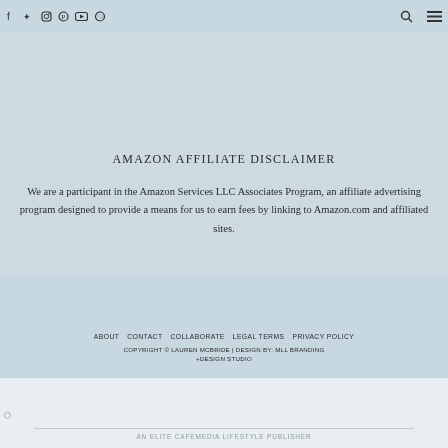Social icons (Facebook, Twitter, Instagram, Pinterest, YouTube, Heart) | Search | Menu
AMAZON AFFILIATE DISCLAIMER
We are a participant in the Amazon Services LLC Associates Program, an affiliate advertising program designed to provide a means for us to earn fees by linking to Amazon.com and affiliated sites.
ABOUT  CONTACT  COLLABORATE  LEGAL TERMS  PRIVACY POLICY
COPYRIGHT © LAUREN MCBRIDE | DESIGN BY: MLL BRANDING +DESIGN STUDIO
AN ELITE CAFEMEDIA LIFESTYLE PUBLISHER